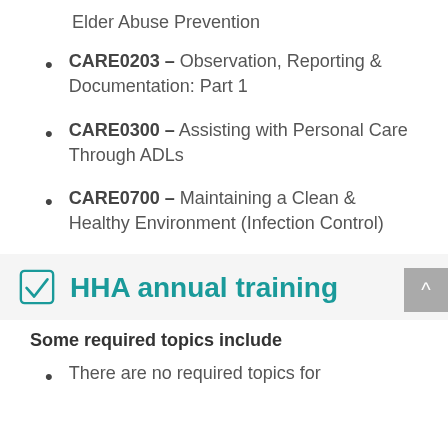Elder Abuse Prevention
CARE0203 – Observation, Reporting & Documentation: Part 1
CARE0300 – Assisting with Personal Care Through ADLs
CARE0700 – Maintaining a Clean & Healthy Environment (Infection Control)
HHA annual training
Some required topics include
There are no required topics for